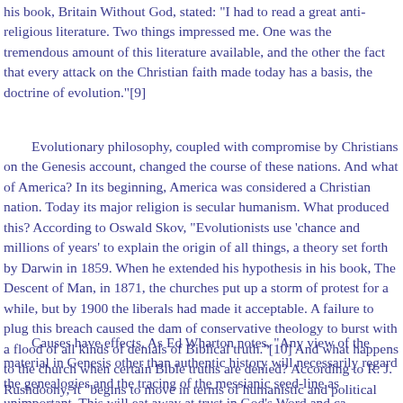his book, Britain Without God, stated: "I had to read a great anti-religious literature. Two things impressed me. One was the tremendous amount of this literature available, and the other the fact that every attack on the Christian faith made today has a basis, the doctrine of evolution."[9]
Evolutionary philosophy, coupled with compromise by Christians on the Genesis account, changed the course of these nations. And what of America? In its beginning, America was considered a Christian nation. Today its major religion is secular humanism. What produced this? According to Oswald Skov, "Evolutionists use 'chance and millions of years' to explain the origin of all things, a theory set forth by Darwin in 1859. When he extended his hypothesis in his book, The Descent of Man, in 1871, the churches put up a storm of protest for a while, but by 1900 the liberals had made it acceptable. A failure to plug this breach caused the dam of conservative theology to burst with a flood of all kinds of denials of Biblical truth."[10] And what happens to the church when certain Bible truths are denied? According to R. J. Rushdoony, it "begins to move in terms of humanistic and political power rather than the power of God."[11]
Causes have effects. As Ed Wharton notes, "Any view of the material in Genesis other than authentic history will necessarily regard the genealogies and the tracing of the messianic seed-line as ultimately unimportant. This will eat away at trust in God's Word and ca...